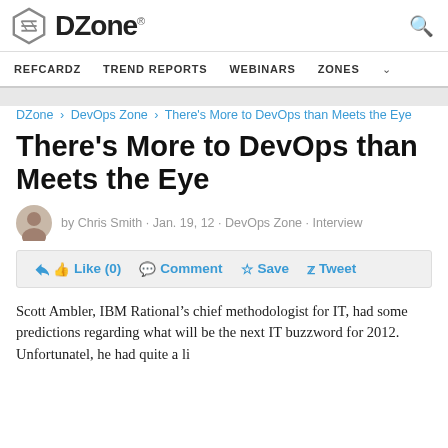DZone. REFCARDZ  TREND REPORTS  WEBINARS  ZONES
DZone > DevOps Zone > There's More to DevOps than Meets the Eye
There's More to DevOps than Meets the Eye
by Chris Smith · Jan. 19, 12 · DevOps Zone · Interview
Like (0)  Comment  Save  Tweet
Scott Ambler, IBM Rational's chief methodologist for IT, had some predictions regarding what will be the next IT buzzword for 2012. Unfortunately, he had quite a li...